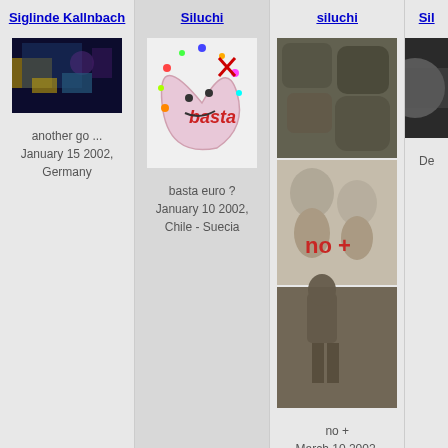Siglinde Kallnbach
[Figure (photo): Colorful digital art image, dark background with blue and yellow hues]
another go ...
January 15 2002, Germany
Siluchi
[Figure (illustration): Colorful cartoon baby face with basta text, illustrated artwork]
basta euro ?
January 10 2002,
Chile - Suecia
siluchi
[Figure (photo): Three stacked photos: rocks/stones, two children with 'no +' text overlay in red, stone figure]
no +
March 10 2002,
chile-suecia
Sil
[Figure (photo): Partial image visible at right edge, dark tones]
De